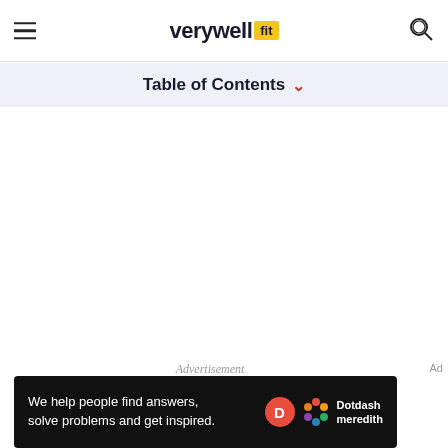verywellfit
Table of Contents
Advertisement
Ad
We help people find answers, solve problems and get inspired. Dotdash meredith